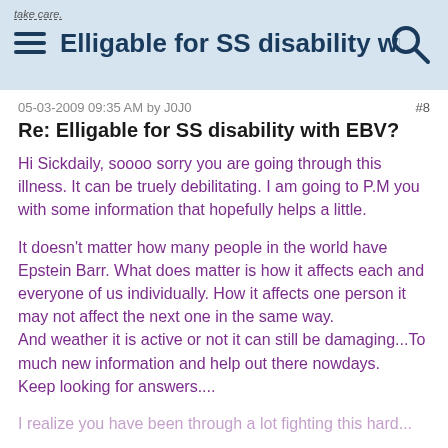take care. | Elligable for SS disability with E... | [search icon]
05-03-2009 09:35 AM by J0J0   #8
Re: Elligable for SS disability with EBV?
Hi Sickdaily, soooo sorry you are going through this illness. It can be truely debilitating. I am going to P.M you with some information that hopefully helps a little.
It doesn't matter how many people in the world have Epstein Barr. What does matter is how it affects each and everyone of us individually. How it affects one person it may not affect the next one in the same way.
And weather it is active or not it can still be damaging...To much new information and help out there nowdays.
Keep looking for answers....
[partial text cut off at bottom]